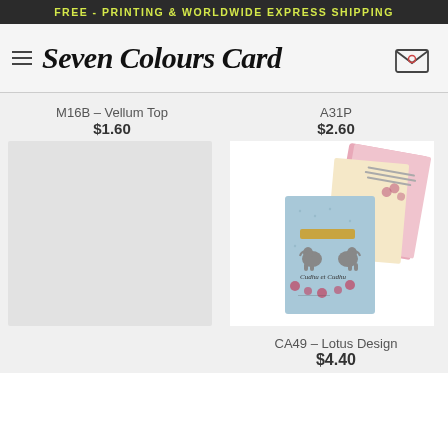FREE - PRINTING & WORLDWIDE EXPRESS SHIPPING
Seven Colours Card
M16B – Vellum Top
$1.60
A31P
$2.60
[Figure (photo): Gray placeholder box for M16B product]
[Figure (photo): Wedding invitation card set CA49 Lotus Design showing blue card with elephant motif and pink floral inserts]
CA49 – Lotus Design
$4.40